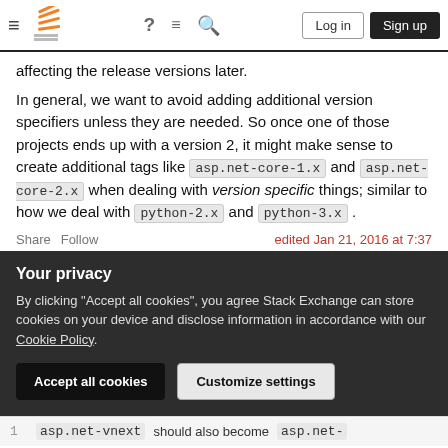Stack Overflow navigation header with hamburger, logo, question mark, chat, search, Log in, Sign up
affecting the release versions later.
In general, we want to avoid adding additional version specifiers unless they are needed. So once one of those projects ends up with a version 2, it might make sense to create additional tags like asp.net-core-1.x and asp.net-core-2.x when dealing with version specific things; similar to how we deal with python-2.x and python-3.x .
Share  Follow    edited Jan 21, 2016 at 7:37
Your privacy
By clicking "Accept all cookies", you agree Stack Exchange can store cookies on your device and disclose information in accordance with our Cookie Policy.
Accept all cookies   Customize settings
1  asp.net-vnext should also become asp.net-